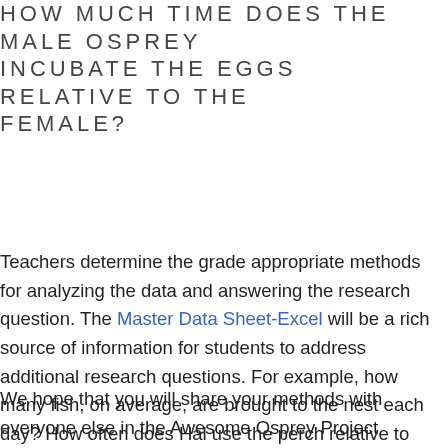HOW MUCH TIME DOES THE MALE OSPREY INCUBATE THE EGGS RELATIVE TO THE FEMALE?
Teachers determine the grade appropriate methods for analyzing the data and answering the research question. The Master Data Sheet-Excel will be a rich source of information for students to address additional research questions. For example, how many fish, on average, are brought to the nest each day? How often does Hal use the perch relative to Harriet?
We hope that you will share your methods with everyone else in the Awesome Osprey Project Discussion Board where you can post photos, chats, and graphs that your class creates